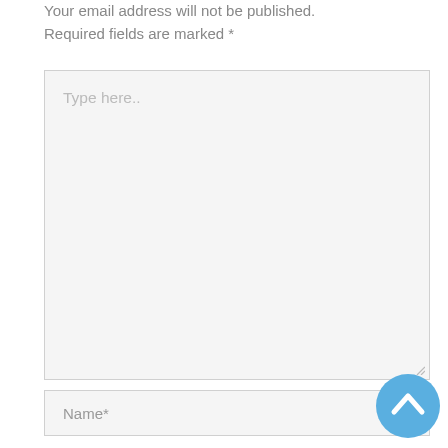Your email address will not be published. Required fields are marked *
[Figure (screenshot): Large text area input field with placeholder text 'Type here..' and a resize handle at bottom right]
[Figure (screenshot): Text input field with placeholder 'Name*']
[Figure (illustration): Blue circular scroll-to-top button with upward chevron arrow icon]